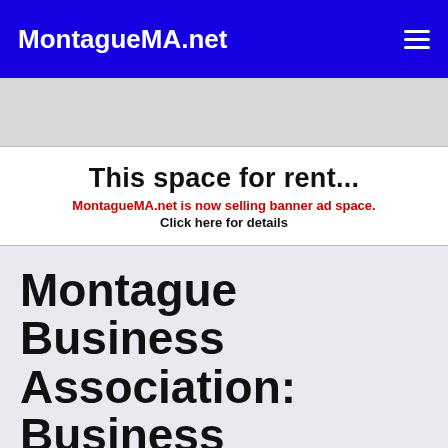MontagueMA.net
[Figure (other): Advertisement banner: 'This space for rent... MontagueMA.net is now selling banner ad space. Click here for details']
Montague Business Association: Business Directory
Corkboard  Calendar  Press Releases  Business Directory  Polls  Documents  Contact Us